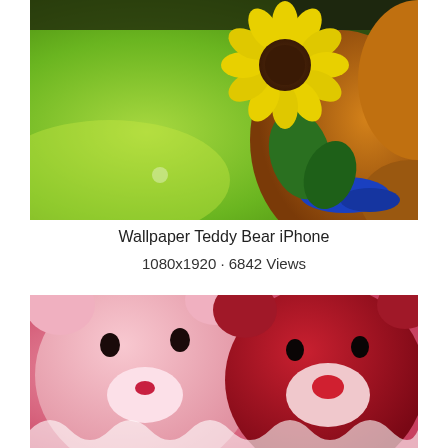[Figure (photo): A brown teddy bear holding a yellow sunflower with green leaves, wearing a blue accessory, set against a blurred bright green grass background.]
Wallpaper Teddy Bear iPhone
1080x1920 · 6842 Views
[Figure (photo): Two stuffed teddy bears close up — a pink bear on the left and a red bear on the right, both with red noses, against a pink/red background.]